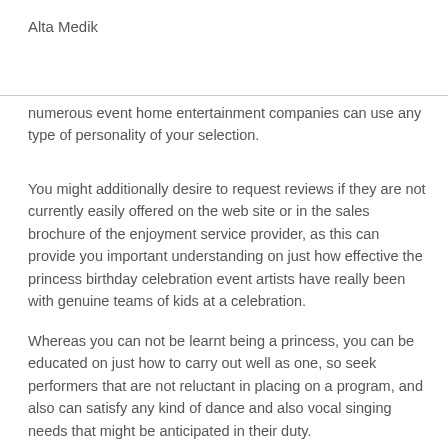Alta Medik
numerous event home entertainment companies can use any type of personality of your selection.
You might additionally desire to request reviews if they are not currently easily offered on the web site or in the sales brochure of the enjoyment service provider, as this can provide you important understanding on just how effective the princess birthday celebration event artists have really been with genuine teams of kids at a celebration.
Whereas you can not be learnt being a princess, you can be educated on just how to carry out well as one, so seek performers that are not reluctant in placing on a program, and also can satisfy any kind of dance and also vocal singing needs that might be anticipated in their duty.